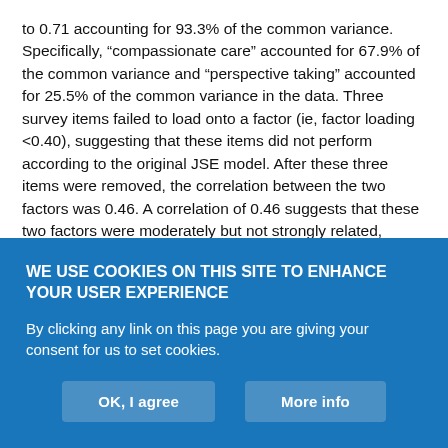to 0.71 accounting for 93.3% of the common variance. Specifically, “compassionate care” accounted for 67.9% of the common variance and “perspective taking” accounted for 25.5% of the common variance in the data. Three survey items failed to load onto a factor (ie, factor loading <0.40), suggesting that these items did not perform according to the original JSE model. After these three items were removed, the correlation between the two factors was 0.46. A correlation of 0.46 suggests that these two factors were moderately but not strongly related, suggesting that “perspective taking” and “compassionate care” were distinct. Cronbach alpha was 0.80 for “compassionate care” and 0.80 for “perspective taking,” suggesting
WE USE COOKIES ON THIS SITE TO ENHANCE YOUR USER EXPERIENCE
By clicking any link on this page you are giving your consent for us to set cookies.
OK, I agree
More info